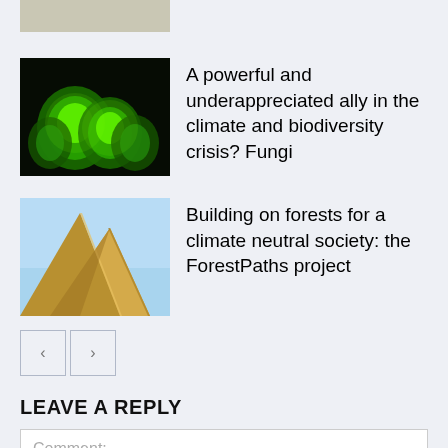[Figure (photo): Partial view of a top article thumbnail, light gray/beige tones]
[Figure (photo): Glowing green fungi/mushrooms on dark background]
A powerful and underappreciated ally in the climate and biodiversity crisis? Fungi
[Figure (photo): Golden/yellow angular wooden or cardboard shapes against blue sky]
Building on forests for a climate neutral society: the ForestPaths project
LEAVE A REPLY
Comment: